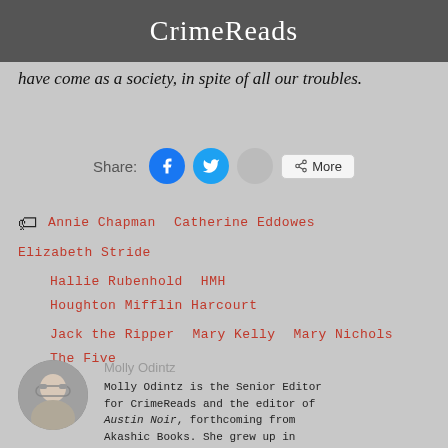CrimeReads
have come as a society, in spite of all our troubles.
Share:
Annie Chapman
Catherine Eddowes
Elizabeth Stride
Hallie Rubenhold
HMH
Houghton Mifflin Harcourt
Jack the Ripper
Mary Kelly
Mary Nichols
The Five
Molly Odintz
Molly Odintz is the Senior Editor for CrimeReads and the editor of Austin Noir, forthcoming from Akashic Books. She grew up in Austin and she has a really...